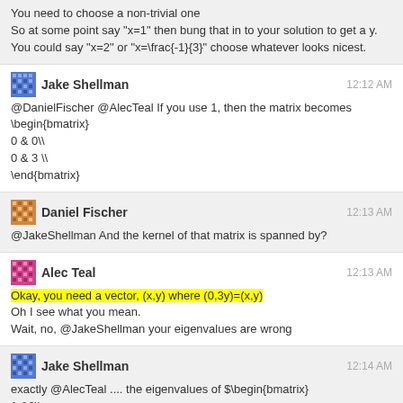You need to choose a non-trivial one
So at some point say "x=1" then bung that in to your solution to get a y.
You could say "x=2" or "x=\frac{-1}{3}" choose whatever looks nicest.
Jake Shellman  12:12 AM
@DanielFischer @AlecTeal If you use 1, then the matrix becomes \begin{bmatrix}
0 & 0\\
0 & 3 \\
\end{bmatrix}
Daniel Fischer  12:13 AM
@JakeShellman And the kernel of that matrix is spanned by?
Alec Teal  12:13 AM
Okay, you need a vector, (x,y) where (0,3y)=(x,y)
Oh I see what you mean.
Wait, no, @JakeShellman your eigenvalues are wrong
Jake Shellman  12:14 AM
exactly @AlecTeal .... the eigenvalues of $\begin{bmatrix}
1 &0\\
0 & 4 \\
\end{bmatrix}$ are 1 and 4
Alec Teal  12:14 AM
So where has 0,0,0,3 come from?
Jake Shellman  12:15 AM
A_1l = 0, 0, 0, 3